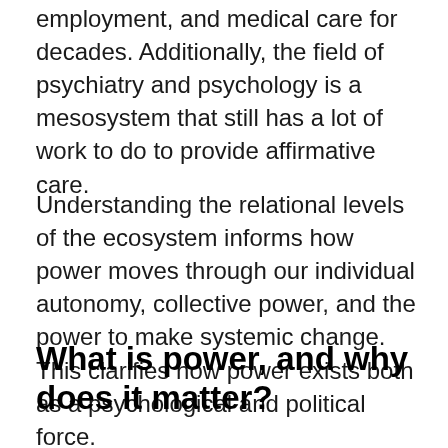employment, and medical care for decades. Additionally, the field of psychiatry and psychology is a mesosystem that still has a lot of work to do to provide affirmative care.
Understanding the relational levels of the ecosystem informs how power moves through our individual autonomy, collective power, and the power to make systemic change. This clarifies how power exists both as a psychological and political force.
What is power, and why does it matter?